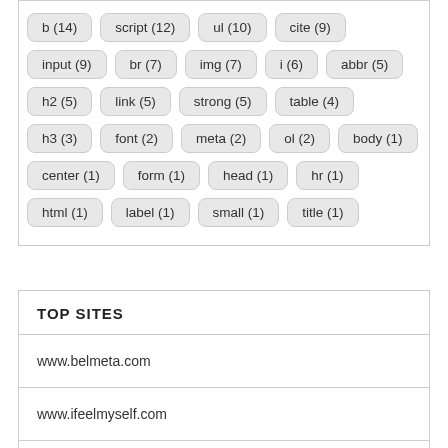[Figure (infographic): Tag cloud showing HTML element names with frequency counts in rounded pill badges. Elements shown: b (14), script (12), ul (10), cite (9), input (9), br (7), img (7), i (6), abbr (5), h2 (5), link (5), strong (5), table (4), h3 (3), font (2), meta (2), ol (2), body (1), center (1), form (1), head (1), hr (1), html (1), label (1), small (1), title (1).]
TOP SITES
www.belmeta.com
www.ifeelmyself.com
www.networkfleet.com